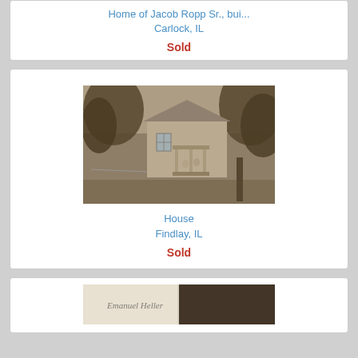Home of Jacob Ropp Sr., bui...
Carlock, IL
Sold
[Figure (photo): Sepia-toned photograph of a house with a porch, surrounded by large trees. Two figures visible on the porch.]
House
Findlay, IL
Sold
[Figure (photo): Partially visible sepia-toned photograph at the bottom of the page, appears to show a handwritten label.]